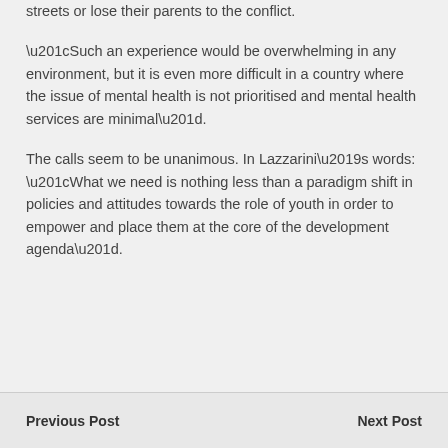streets or lose their parents to the conflict.
“Such an experience would be overwhelming in any environment, but it is even more difficult in a country where the issue of mental health is not prioritised and mental health services are minimal”.
The calls seem to be unanimous. In Lazzarini’s words: “What we need is nothing less than a paradigm shift in policies and attitudes towards the role of youth in order to empower and place them at the core of the development agenda”.
Previous Post | Next Post